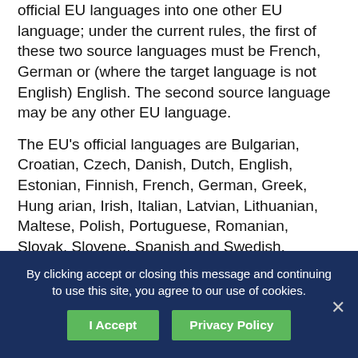official EU languages into one other EU language; under the current rules, the first of these two source languages must be French, German or (where the target language is not English) English. The second source language may be any other EU language.
The EU's official languages are Bulgarian, Croatian, Czech, Danish, Dutch, English, Estonian, Finnish, French, German, Greek, Hungarian, Irish, Italian, Latvian, Lithuanian, Maltese, Polish, Portuguese, Romanian, Slovak, Slovene, Spanish and Swedish.
This recruitment process is open-ended: candidates may register their interest, and may be called for testing...
By clicking accept or closing this message and continuing to use this site, you agree to our use of cookies.